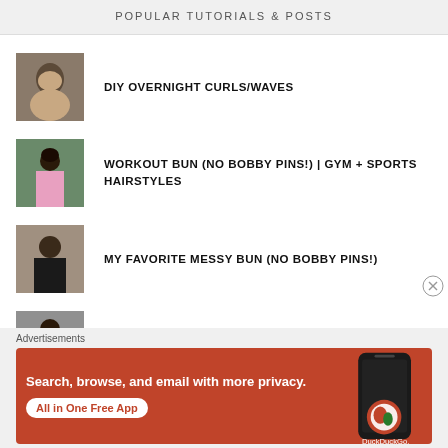POPULAR TUTORIALS & POSTS
DIY OVERNIGHT CURLS/WAVES
WORKOUT BUN (NO BOBBY PINS!) | GYM + SPORTS HAIRSTYLES
MY FAVORITE MESSY BUN (NO BOBBY PINS!)
SUPER EASY FORMAL PONYTAIL
Advertisements
[Figure (screenshot): DuckDuckGo advertisement banner: orange background with text 'Search, browse, and email with more privacy. All in One Free App' and DuckDuckGo logo with phone illustration]